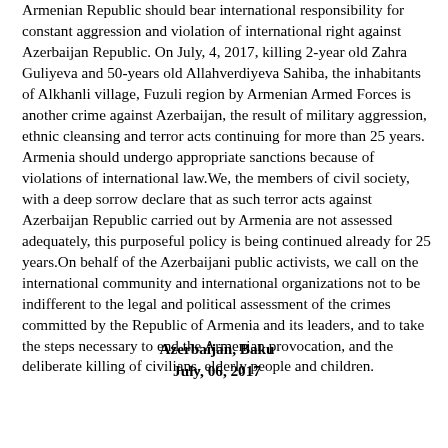Armenian Republic should bear international responsibility for constant aggression and violation of international right against Azerbaijan Republic. On July, 4, 2017, killing 2-year old Zahra Guliyeva and 50-years old Allahverdiyeva Sahiba, the inhabitants of Alkhanli village, Fuzuli region by Armenian Armed Forces is another crime against Azerbaijan, the result of military aggression, ethnic cleansing and terror acts continuing for more than 25 years. Armenia should undergo appropriate sanctions because of violations of international law.We, the members of civil society, with a deep sorrow declare that as such terror acts against Azerbaijan Republic carried out by Armenia are not assessed adequately, this purposeful policy is being continued already for 25 years.On behalf of the Azerbaijani public activists, we call on the international community and international organizations not to be indifferent to the legal and political assessment of the crimes committed by the Republic of Armenia and its leaders, and to take the steps necessary to end the Armenian provocation, and the deliberate killing of civilians, elderly people and children.
Azerbaijan, Baku
July, 06, 2017